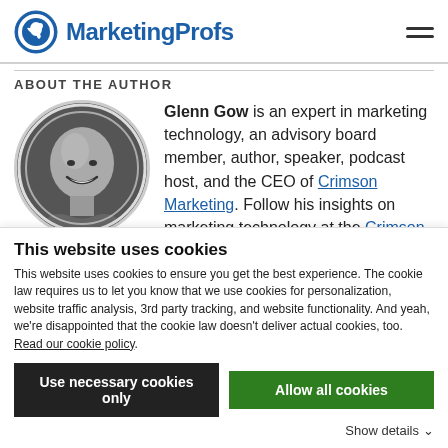MarketingProfs
ABOUT THE AUTHOR
[Figure (photo): Circular black-and-white headshot of Glenn Gow, smiling man]
Glenn Gow is an expert in marketing technology, an advisory board member, author, speaker, podcast host, and the CEO of Crimson Marketing. Follow his insights on marketing technology at the Crimson
This website uses cookies
This website uses cookies to ensure you get the best experience. The cookie law requires us to let you know that we use cookies for personalization, website traffic analysis, 3rd party tracking, and website functionality. And yeah, we're disappointed that the cookie law doesn't deliver actual cookies, too. Read our cookie policy.
Use necessary cookies only
Allow all cookies
Show details